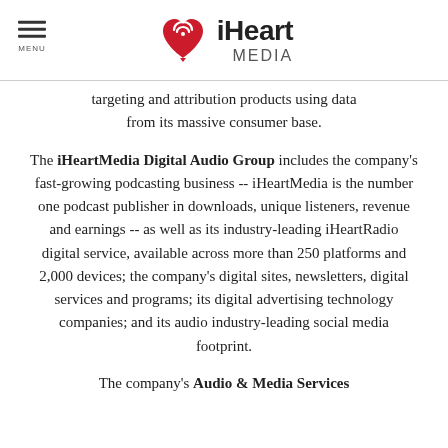MENU | iHeart MEDIA
targeting and attribution products using data from its massive consumer base.
The iHeartMedia Digital Audio Group includes the company's fast-growing podcasting business -- iHeartMedia is the number one podcast publisher in downloads, unique listeners, revenue and earnings -- as well as its industry-leading iHeartRadio digital service, available across more than 250 platforms and 2,000 devices; the company's digital sites, newsletters, digital services and programs; its digital advertising technology companies; and its audio industry-leading social media footprint.
The company's Audio & Media Services